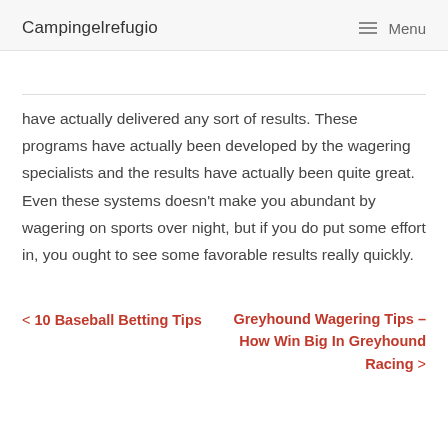Campingelrefugio   Menu
have actually delivered any sort of results. These programs have actually been developed by the wagering specialists and the results have actually been quite great. Even these systems doesn't make you abundant by wagering on sports over night, but if you do put some effort in, you ought to see some favorable results really quickly.
< 10 Baseball Betting Tips   Greyhound Wagering Tips – How Win Big In Greyhound Racing >